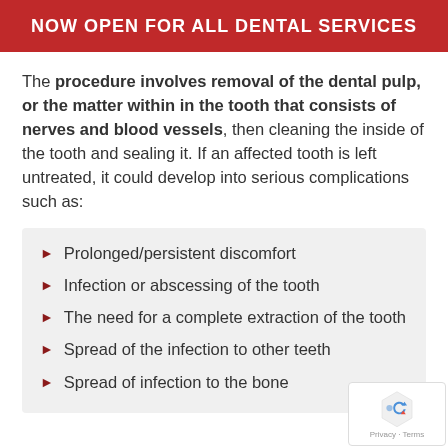NOW OPEN FOR ALL DENTAL SERVICES
The procedure involves removal of the dental pulp, or the matter within in the tooth that consists of nerves and blood vessels, then cleaning the inside of the tooth and sealing it. If an affected tooth is left untreated, it could develop into serious complications such as:
Prolonged/persistent discomfort
Infection or abscessing of the tooth
The need for a complete extraction of the tooth
Spread of the infection to other teeth
Spread of infection to the bone